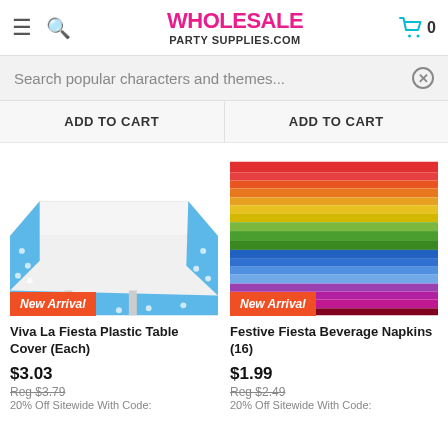WHOLESALE PARTY SUPPLIES.COM
Search popular characters and themes...
ADD TO CART | ADD TO CART
[Figure (photo): Viva La Fiesta Plastic Table Cover showing a table draped with blue floral-print tablecloth, New Arrival badge]
Viva La Fiesta Plastic Table Cover (Each)
$3.03
Reg $3.79
20% Off Sitewide With Code:
[Figure (photo): Festive Fiesta Beverage Napkins showing rainbow horizontal stripes pattern, New Arrival badge]
Festive Fiesta Beverage Napkins (16)
$1.99
Reg $2.49
20% Off Sitewide With Code: